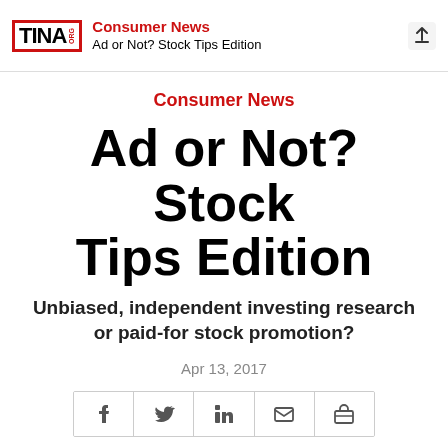Consumer News | Ad or Not? Stock Tips Edition
Consumer News
Ad or Not? Stock Tips Edition
Unbiased, independent investing research or paid-for stock promotion?
Apr 13, 2017
[Figure (other): Social sharing icon row with Facebook, Twitter, LinkedIn, email, and bookmark icons]